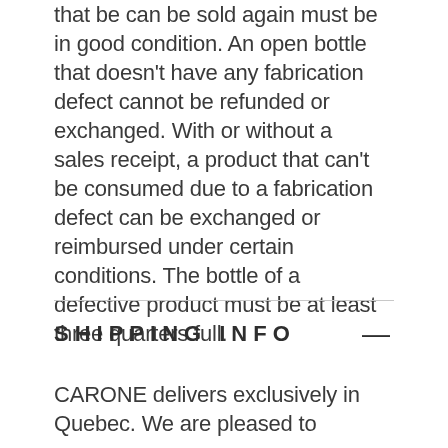that be can be sold again must be in good condition. An open bottle that doesn't have any fabrication defect cannot be refunded or exchanged. With or without a sales receipt, a product that can't be consumed due to a fabrication defect can be exchanged or reimbursed under certain conditions. The bottle of a defective product must be at least three quarters full.
SHIPPING INFO
CARONE delivers exclusively in Quebec. We are pleased to